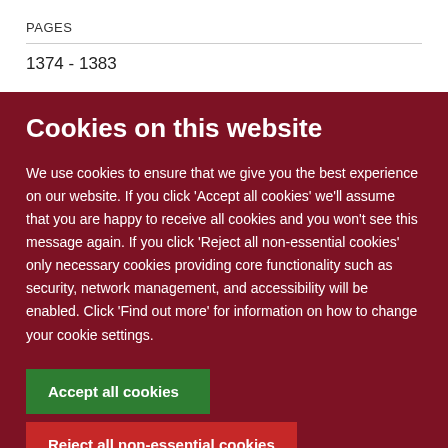PAGES
1374 - 1383
Cookies on this website
We use cookies to ensure that we give you the best experience on our website. If you click 'Accept all cookies' we'll assume that you are happy to receive all cookies and you won't see this message again. If you click 'Reject all non-essential cookies' only necessary cookies providing core functionality such as security, network management, and accessibility will be enabled. Click 'Find out more' for information on how to change your cookie settings.
Accept all cookies
Reject all non-essential cookies
Find out more